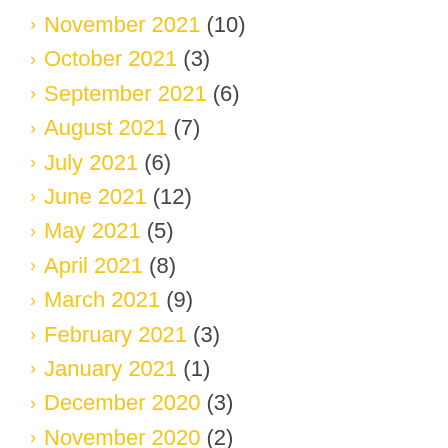November 2021 (10)
October 2021 (3)
September 2021 (6)
August 2021 (7)
July 2021 (6)
June 2021 (12)
May 2021 (5)
April 2021 (8)
March 2021 (9)
February 2021 (3)
January 2021 (1)
December 2020 (3)
November 2020 (2)